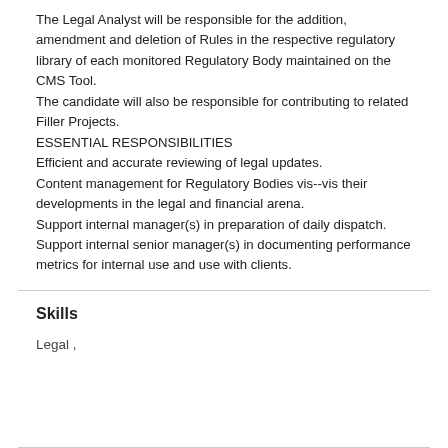The Legal Analyst will be responsible for the addition, amendment and deletion of Rules in the respective regulatory library of each monitored Regulatory Body maintained on the CMS Tool. The candidate will also be responsible for contributing to related Filler Projects.
ESSENTIAL RESPONSIBILITIES
Efficient and accurate reviewing of legal updates.
Content management for Regulatory Bodies vis--vis their developments in the legal and financial arena.
Support internal manager(s) in preparation of daily dispatch.
Support internal senior manager(s) in documenting performance metrics for internal use and use with clients.
Skills
Legal ,